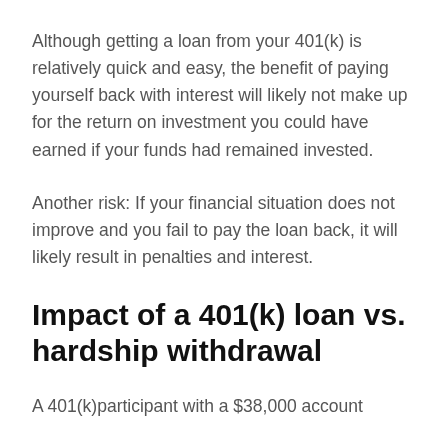Although getting a loan from your 401(k) is relatively quick and easy, the benefit of paying yourself back with interest will likely not make up for the return on investment you could have earned if your funds had remained invested.
Another risk: If your financial situation does not improve and you fail to pay the loan back, it will likely result in penalties and interest.
Impact of a 401(k) loan vs. hardship withdrawal
A 401(k)participant with a $38,000 account